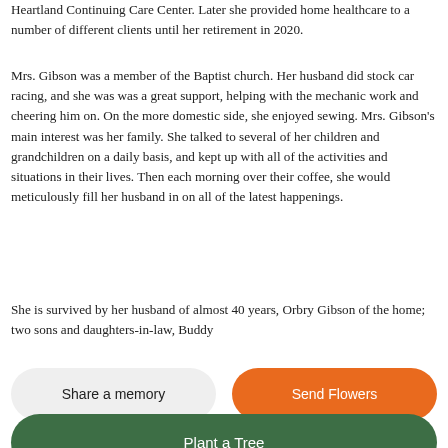Heartland Continuing Care Center.  Later she provided home healthcare to a number of different clients until her retirement in 2020.
Mrs. Gibson was a member of the Baptist church.  Her husband did stock car racing, and she was was a great support, helping with the mechanic work and cheering him on.  On the more domestic side, she enjoyed sewing.  Mrs. Gibson's main interest was her family.  She talked to several of her children and grandchildren on a daily basis, and kept up with all of the activities and situations in their lives.  Then each morning over their coffee, she would meticulously fill her husband in on all of the latest happenings.
She is survived by her husband of almost 40 years, Orbry Gibson of the home; two sons and daughters-in-law, Buddy
Share a memory
Send Flowers
Plant a Tree